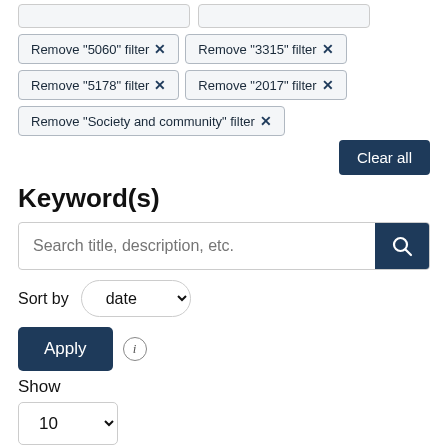Remove "5060" filter ✕
Remove "3315" filter ✕
Remove "5178" filter ✕
Remove "2017" filter ✕
Remove "Society and community" filter ✕
Clear all
Keyword(s)
Search title, description, etc.
Sort by  date
Apply
Show
10